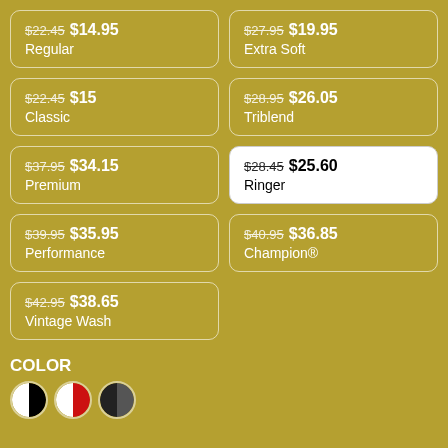$22.45 $14.95 Regular
$27.95 $19.95 Extra Soft
$22.45 $15 Classic
$28.95 $26.05 Triblend
$37.95 $34.15 Premium
$28.45 $25.60 Ringer
$39.95 $35.95 Performance
$40.95 $36.85 Champion®
$42.95 $38.65 Vintage Wash
COLOR
[Figure (illustration): Three color swatches shown as circles: black/white split, red/white split, grey/black split]